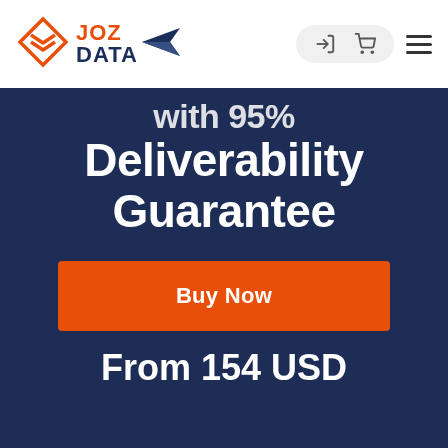[Figure (logo): JOZ DATA logo with orange diamond chevron icon, orange JOZ text, dark navy DATA text, and dark navy paper plane icon]
with 95% Deliverability Guarantee
Buy Now
From 154 USD